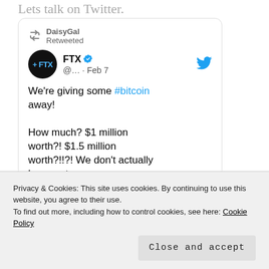Lets talk on Twitter.
[Figure (screenshot): Embedded tweet screenshot: DaisyGal Retweeted. FTX (verified) @... · Feb 7. We're giving some #bitcoin away! How much? $1 million worth?! $1.5 million worth?!!?! We don't actually know yet. The later our Big Game ad airs, the more #bitcoin you...]
ftx.us/dontmissout
Privacy & Cookies: This site uses cookies. By continuing to use this website, you agree to their use.
To find out more, including how to control cookies, see here: Cookie Policy
Close and accept